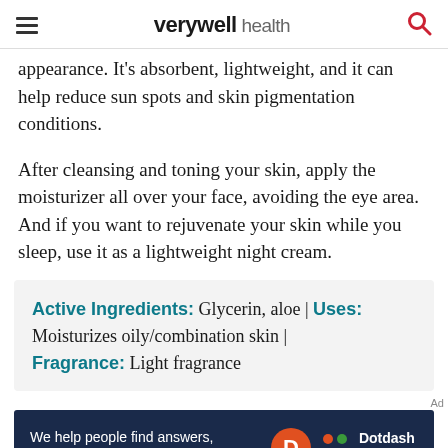verywell health
appearance. It's absorbent, lightweight, and it can help reduce sun spots and skin pigmentation conditions.
After cleansing and toning your skin, apply the moisturizer all over your face, avoiding the eye area. And if you want to rejuvenate your skin while you sleep, use it as a lightweight night cream.
Active Ingredients: Glycerin, aloe | Uses: Moisturizes oily/combination skin | Fragrance: Light fragrance
[Figure (screenshot): Dotdash Meredith advertisement banner with text 'We help people find answers, solve problems and get inspired.' with Dotdash Meredith logo and colorful dots icon.]